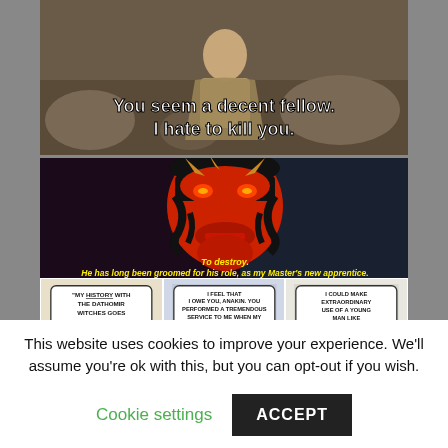[Figure (photo): Movie still showing a character with text overlay: 'You seem a decent fellow. I hate to kill you.']
[Figure (illustration): Two-part image: top shows Darth Maul with yellow caption text 'To destroy. He has long been groomed for his role, as my Master's new apprentice.' Bottom shows three comic panels with speech bubbles about Dathomir witches, owing a favor to Anakin, and making use of a young man.]
This website uses cookies to improve your experience. We'll assume you're ok with this, but you can opt-out if you wish.
Cookie settings
ACCEPT